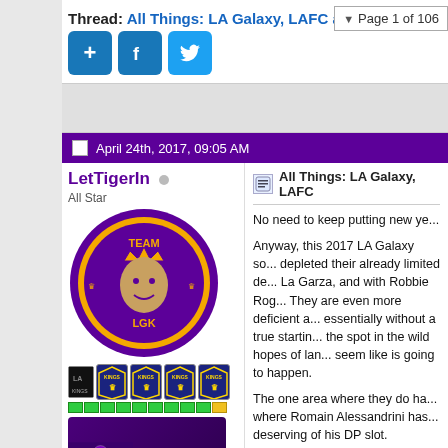Page 1 of 106
Thread: All Things: LA Galaxy, LAFC and MLS
[Figure (screenshot): Share icons: plus, Facebook, Twitter buttons in blue]
[Figure (screenshot): Advertisement banner area (gray)]
April 24th, 2017, 09:05 AM
LetTigerIn
All Star
[Figure (photo): User avatar: Team LGK king logo on purple/gold circular badge]
[Figure (photo): LetsGoKings.com signature image with robot/trophy graphic]
All Things: LA Galaxy, LAFC and MLS
No need to keep putting new ye...
Anyway, this 2017 LA Galaxy so... depleted their already limited de... La Garza, and with Robbie Rog... They are even more deficient a... essentially without a true startin... the spot in the wild hopes of lan... seem like is going to happen.
The one area where they do ha... where Romain Alessandrini has... deserving of his DP slot. Unfortu... like the only player on the club w... in the goal. Lletget may have be... hunger to attack, had he not be...